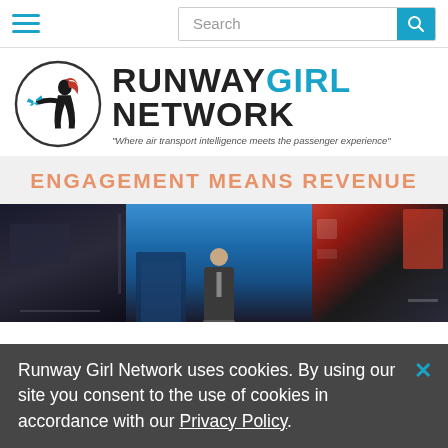Search
[Figure (logo): Runway Girl Network logo with circular icon of a girl silhouette holding an airplane, with text RUNWAY GIRL NETWORK and tagline 'Where air transport intelligence meets the passenger experience']
ENGAGEMENT MEANS REVENUE
[Figure (photo): A collage of three photos: dark event venue on left, a man in a suit speaking at a podium with blue background in center, and a red branded display/signage on right]
Runway Girl Network uses cookies. By using our site you consent to the use of cookies in accordance with our Privacy Policy.